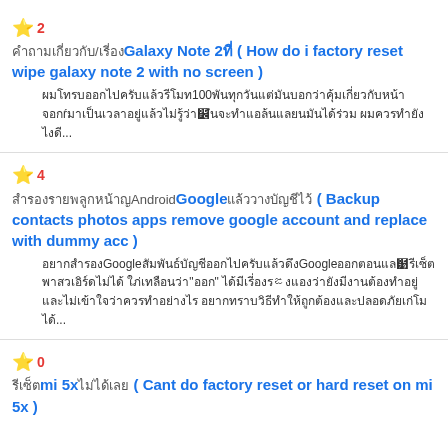★ 2 [Thai text]/[Thai]Galaxy Note 2[Thai] ( How do i factory reset wipe galaxy note 2 with no screen ) [Thai body text with 100] ...
★ 4 [Thai text]Google[Thai] ( Backup contacts photos apps remove google account and replace with dummy acc ) [Thai body text Google] ...
★ 0 [Thai]mi 5x[Thai] ( Cant do factory reset or hard reset on mi 5x )